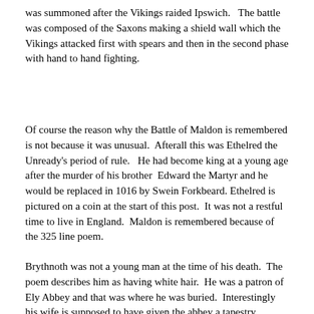was summoned after the Vikings raided Ipswich.   The battle was composed of the Saxons making a shield wall which the Vikings attacked first with spears and then in the second phase with hand to hand fighting.
Of course the reason why the Battle of Maldon is remembered is not because it was unusual.  Afterall this was Ethelred the Unready's period of rule.   He had become king at a young age after the murder of his brother  Edward the Martyr and he would be replaced in 1016 by Swein Forkbeard. Ethelred is pictured on a coin at the start of this post.  It was not a restful time to live in England.  Maldon is remembered because of the 325 line poem.
Brythnoth was not a young man at the time of his death.  The poem describes him as having white hair.  He was a patron of Ely Abbey and that was where he was buried.  Interestingly his wife is supposed to have given the abbey a tapestry celebrating his